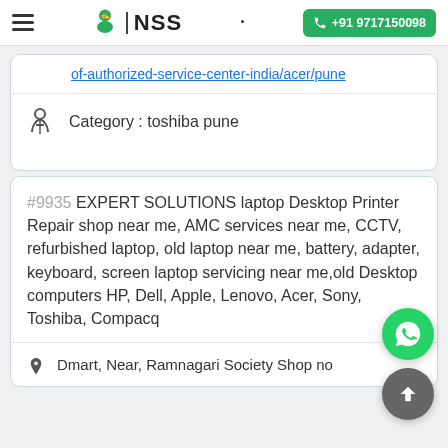NSS | +91 9717150098
of-authorized-service-center-india/acer/pune
Category : toshiba pune
#9935 EXPERT SOLUTIONS laptop Desktop Printer Repair shop near me, AMC services near me, CCTV, refurbished laptop, old laptop near me, battery, adapter, keyboard, screen laptop servicing near me,old Desktop computers HP, Dell, Apple, Lenovo, Acer, Sony, Toshiba, Compacq
Dmart, Near, Ramnagari Society Shop no